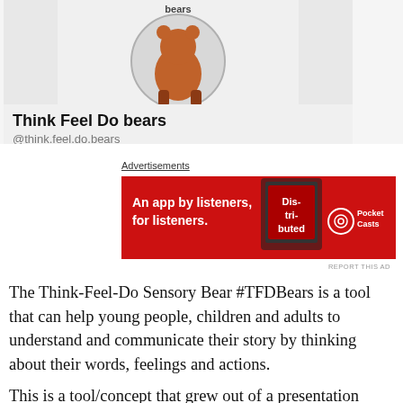[Figure (illustration): Bear logo illustration — circular emblem showing a cartoon bear figure in orange/brown on a light gray background, with the word 'bears' visible at the top]
Think Feel Do bears
@think.feel.do.bears
Advertisements
[Figure (screenshot): Red Pocket Casts advertisement banner reading 'An app by listeners, for listeners.' with a phone image and the Pocket Casts logo on the right]
REPORT THIS AD
The Think-Feel-Do Sensory Bear #TFDBears is a tool that can help young people, children and adults to understand and communicate their story by thinking about their words, feelings and actions.
This is a tool/concept that grew out of a presentation given at the Australian Childhood Trauma conference of 2016 'Going on a Bear...